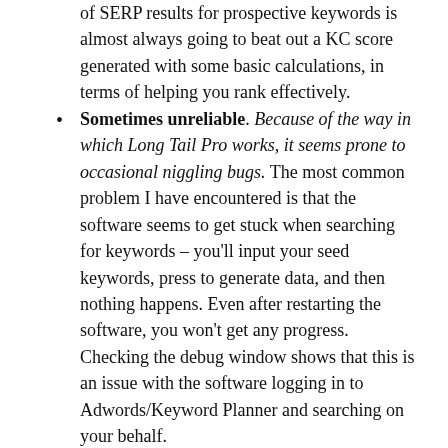of SERP results for prospective keywords is almost always going to beat out a KC score generated with some basic calculations, in terms of helping you rank effectively.
Sometimes unreliable. Because of the way in which Long Tail Pro works, it seems prone to occasional niggling bugs. The most common problem I have encountered is that the software seems to get stuck when searching for keywords – you'll input your seed keywords, press to generate data, and then nothing happens. Even after restarting the software, you won't get any progress. Checking the debug window shows that this is an issue with the software logging in to Adwords/Keyword Planner and searching on your behalf.